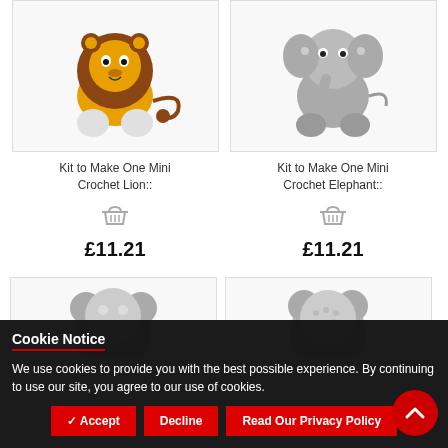[Figure (photo): Crochet lion toy kit product image]
[Figure (photo): Crochet elephant toy kit product image]
Kit to Make One Mini Crochet Lion::
Kit to Make One Mini Crochet Elephant::
£11.21
£11.21
[Figure (photo): Partial crochet animal toy product image (bottom left)]
[Figure (photo): Partial crochet animal toy product image (bottom right)]
Cookie Notice
We use cookies to provide you with the best possible experience. By continuing to use our site, you agree to our use of cookies.
✓ Accept
Decline
Read Our Privacy Policy